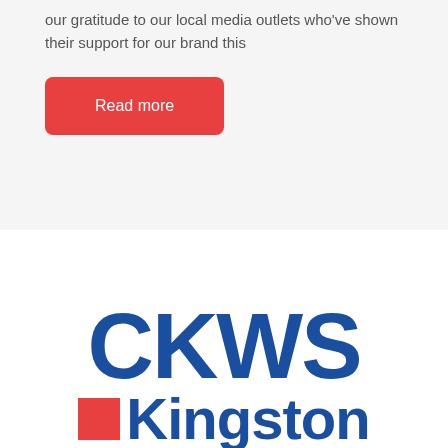our gratitude to our local media outlets who've shown their support for our brand this
Read more
[Figure (logo): CKWS Kingston logo — bold blue 'CKWS' text above a red square followed by blue 'Kingston' text]